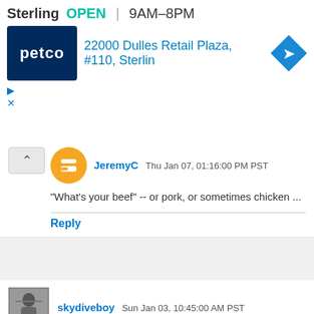[Figure (screenshot): Petco store ad banner showing Sterling location, OPEN status, hours 9AM-8PM, address 22000 Dulles Retail Plaza, #110, Sterlin]
JeremyC  Thu Jan 07, 01:16:00 PM PST
"What's your beef" -- or pork, or sometimes chicken ...
Reply
skydiveboy  Sun Jan 03, 10:45:00 AM PST
Due to the pandemic there is no way I would attend a Ted Talk. That being said I would recommend Republican senators assail on a Ted Cruz.
Reply
▾ Replies